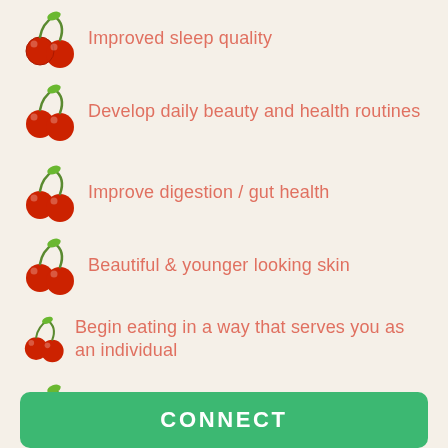Improved sleep quality
Develop daily beauty and health routines
Improve digestion / gut health
Beautiful & younger looking skin
Begin eating in a way that serves you as an individual
Discover your passion, what lights you up
Understand & reduce cravings
Make self-care a priority in your life
CONNECT